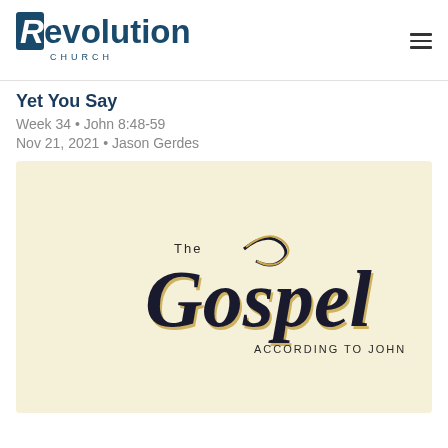Revolution Church
Yet You Say
Week 34 • John 8:48-59
Nov 21, 2021 • Jason Gerdes
[Figure (illustration): The Gospel According to John sermon series logo. Cream/beige background with decorative script lettering reading 'The Gospel According to John' in black and gold/tan colors.]